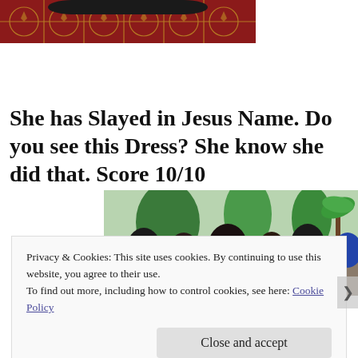[Figure (photo): Top portion of a photo showing a red/maroon patterned carpet with decorative motifs, partially obscured by a dark object at top]
She has Slayed in Jesus Name. Do you see this Dress? She know she did that. Score 10/10
[Figure (photo): Outdoor photo showing a crowd of people, trees and palm trees in the background, people wearing colorful clothing]
Privacy & Cookies: This site uses cookies. By continuing to use this website, you agree to their use.
To find out more, including how to control cookies, see here: Cookie Policy
Close and accept